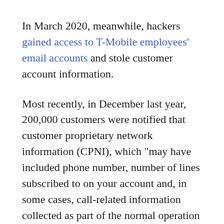In March 2020, meanwhile, hackers gained access to T-Mobile employees' email accounts and stole customer account information.
Most recently, in December last year, 200,000 customers were notified that customer proprietary network information (CPNI), which “may have included phone number, number of lines subscribed to on your account and, in some cases, call-related information collected as part of the normal operation of your wireless service” had been accessed by an unauthorised party.
T-Mobile has not currently confirmed that the